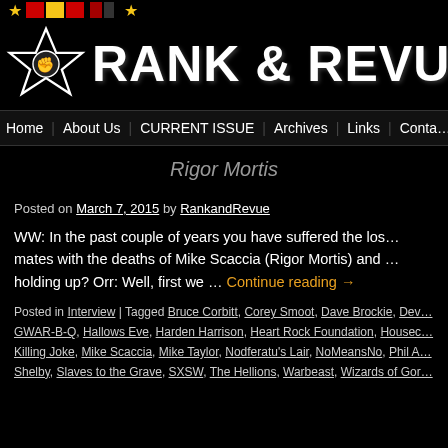RANK & REVU (Rank & Revue website header with logo)
Home | About Us | CURRENT ISSUE | Archives | Links | Conta…
Rigor Mortis
Posted on March 7, 2015 by RankandRevue
WW: In the past couple of years you have suffered the los… mates with the deaths of Mike Scaccia (Rigor Mortis) and … holding up? Orr: Well, first we … Continue reading →
Posted in Interview | Tagged Bruce Corbitt, Corey Smoot, Dave Brockie, Dev… GWAR-B-Q, Hallows Eve, Harden Harrison, Heart Rock Foundation, Housec… Killing Joke, Mike Scaccia, Mike Taylor, Nodferatu's Lair, NoMeansNo, Phil A… Shelby, Slaves to the Grave, SXSW, The Hellions, Warbeast, Wizards of Gor…